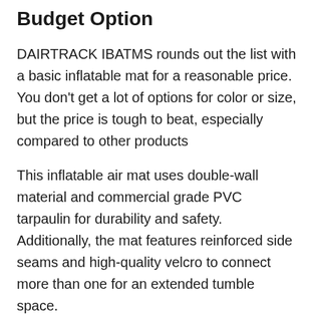Budget Option
DAIRTRACK IBATMS rounds out the list with a basic inflatable mat for a reasonable price. You don't get a lot of options for color or size, but the price is tough to beat, especially compared to other products
This inflatable air mat uses double-wall material and commercial grade PVC tarpaulin for durability and safety. Additionally, the mat features reinforced side seams and high-quality velcro to connect more than one for an extended tumble space.
Pros: